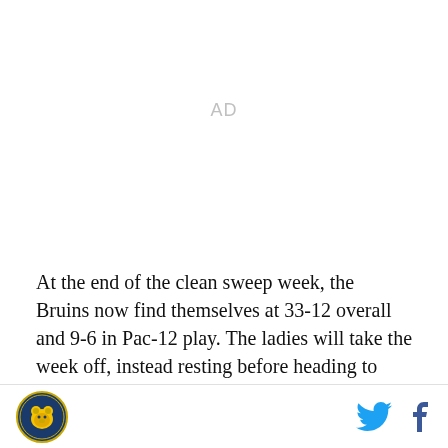AD
At the end of the clean sweep week, the Bruins now find themselves at 33-12 overall and 9-6 in Pac-12 play. The ladies will take the week off, instead resting before heading to Berkeley for a critical road trip this
Logo and social icons (Twitter, Facebook)